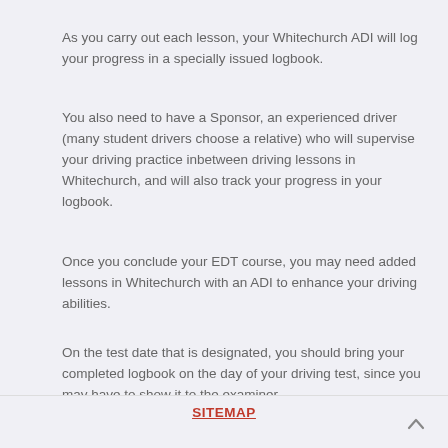As you carry out each lesson, your Whitechurch ADI will log your progress in a specially issued logbook.
You also need to have a Sponsor, an experienced driver (many student drivers choose a relative) who will supervise your driving practice inbetween driving lessons in Whitechurch, and will also track your progress in your logbook.
Once you conclude your EDT course, you may need added lessons in Whitechurch with an ADI to enhance your driving abilities.
On the test date that is designated, you should bring your completed logbook on the day of your driving test, since you may have to show it to the examiner.
SITEMAP